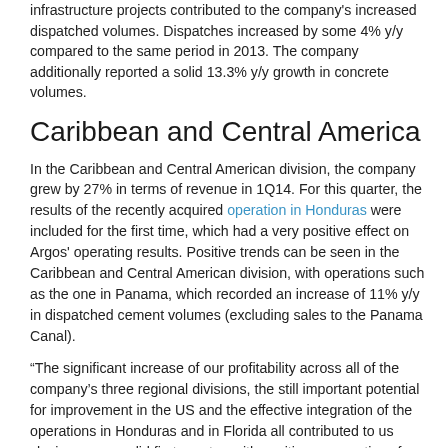infrastructure projects contributed to the company's increased dispatched volumes. Dispatches increased by some 4% y/y compared to the same period in 2013. The company additionally reported a solid 13.3% y/y growth in concrete volumes.
Caribbean and Central America
In the Caribbean and Central American division, the company grew by 27% in terms of revenue in 1Q14. For this quarter, the results of the recently acquired operation in Honduras were included for the first time, which had a very positive effect on Argos' operating results. Positive trends can be seen in the Caribbean and Central American division, with operations such as the one in Panama, which recorded an increase of 11% y/y in dispatched cement volumes (excluding sales to the Panama Canal).
“The significant increase of our profitability across all of the company’s three regional divisions, the still important potential for improvement in the US and the effective integration of the operations in Honduras and in Florida all contributed to us closing a very solid first quarter, with positive perspectives for the rest of 2014 as well,” commented Jorge Velásquez, Chief Execuitve Officer of Argos.